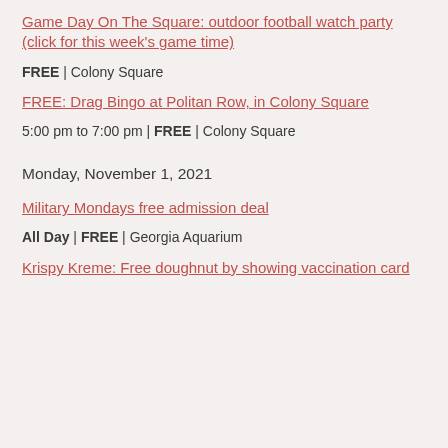Game Day On The Square: outdoor football watch party (click for this week's game time)
FREE | Colony Square
FREE: Drag Bingo at Politan Row, in Colony Square
5:00 pm to 7:00 pm | FREE | Colony Square
Monday, November 1, 2021
Military Mondays free admission deal
All Day | FREE | Georgia Aquarium
Krispy Kreme: Free doughnut by showing vaccination card